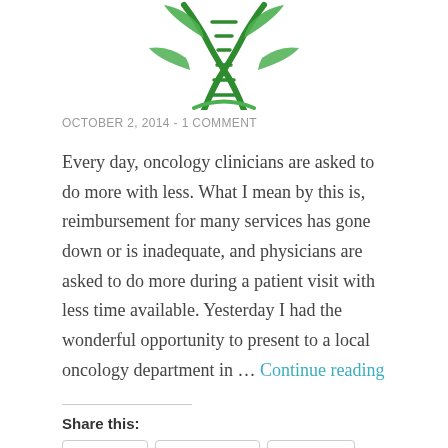[Figure (logo): Green DNA double helix with leaves logo, partially visible at top of page]
OCTOBER 2, 2014  -  1 COMMENT
Every day, oncology clinicians are asked to do more with less.  What I mean by this is, reimbursement for many services has gone down or is inadequate, and physicians are asked to do more during a patient visit with less time available. Yesterday I had the wonderful opportunity to present to a local oncology department in … Continue reading
Share this:
Twitter | Facebook | Tumblr | Pinterest | Email | LinkedIn | More